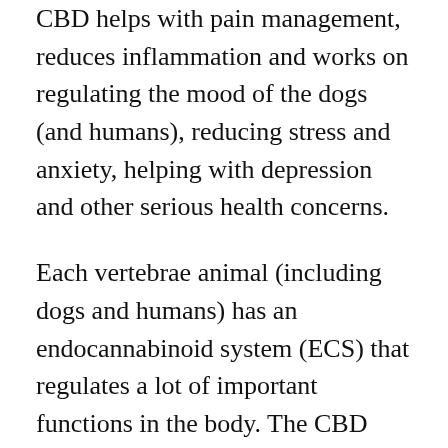CBD helps with pain management, reduces inflammation and works on regulating the mood of the dogs (and humans), reducing stress and anxiety, helping with depression and other serious health concerns.
Each vertebrae animal (including dogs and humans) has an endocannabinoid system (ECS) that regulates a lot of important functions in the body. The CBD reacts with the specific receptors in this system, encouraging the natural balance and helping with a lot of issues, primarily with pain, inflammation and mood swings.
So it is understandable that a dog that suffers from mood swings like separation or social anxiety,